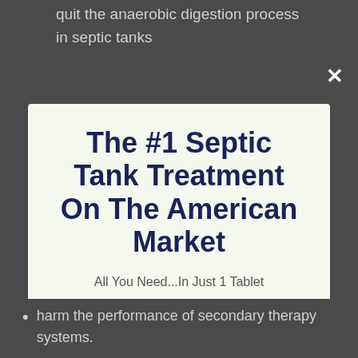quit the anaerobic digestion process in septic tanks
interface with the performance of secondary...
The #1 Septic Tank Treatment On The American Market
All You Need...In Just 1 Tablet
LEARN MORE HERE
No thanks, I'm not interested!
harm the performance of secondary therapy systems.